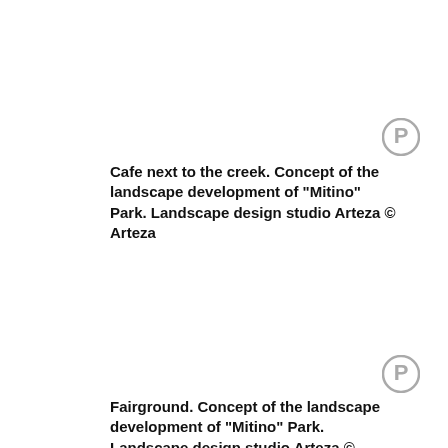[Figure (logo): Pinterest circular icon (grey) in upper right area]
Cafe next to the creek. Concept of the landscape development of "Mitino" Park. Landscape design studio Arteza © Arteza
[Figure (logo): Pinterest circular icon (grey) in lower right area]
Fairground. Concept of the landscape development of "Mitino" Park. Landscape design studio Arteza © Arteza